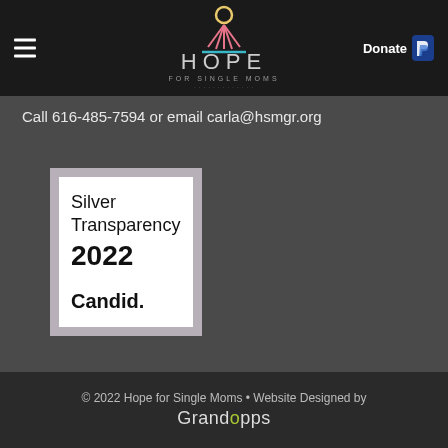Hope for Single Moms — Donate
Call 616-485-7594 or email carla@hsmgr.org
[Figure (logo): Silver Transparency 2022 Candid. badge — white square with grey border showing 'Silver Transparency 2022' and 'Candid.' in bold]
© 2022 Hope for Single Moms • Website Designed by Grandapps